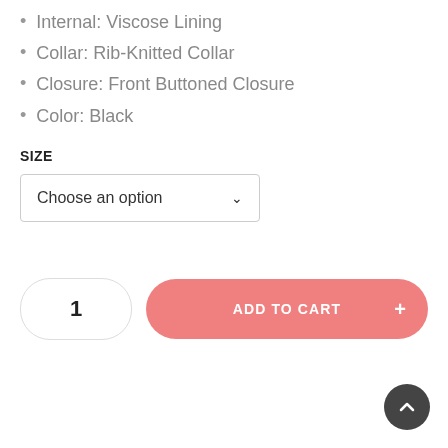Internal: Viscose Lining
Collar: Rib-Knitted Collar
Closure: Front Buttoned Closure
Color: Black
SIZE
Choose an option
1
ADD TO CART +